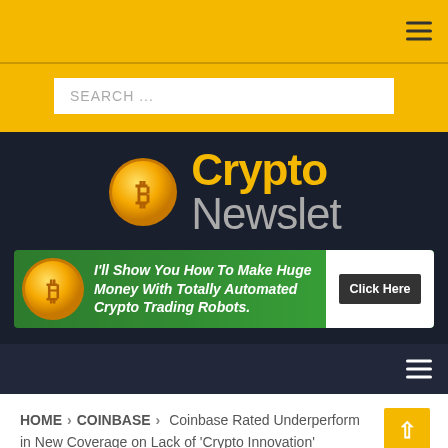Navigation bar with hamburger menu
[Figure (screenshot): Search bar with placeholder text SEARCH ...]
[Figure (logo): Crypto Newslet logo with golden Bitcoin coin icon on dark background]
[Figure (infographic): Green banner ad: I'll Show You How To Make Huge Money With Totally Automated Crypto Trading Robots. Click Here]
Dark navigation bar with hamburger menu
HOME > COINBASE > Coinbase Rated Underperform in New Coverage on Lack of 'Crypto Innovation'
Bitcoin(BTC) $21,579.00 ↑1.25%   Ethereum(ETH) $1,643.3